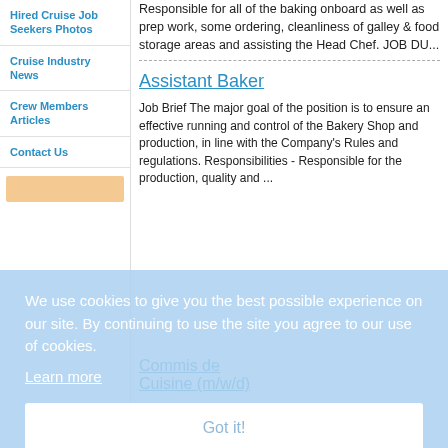Hired Cruise Job Seekers Photos
Cruise Industry News
Crew Members Articles
Contact Us
Responsible for all of the baking onboard as well as prep work, some ordering, cleanliness of galley & food storage areas and assisting the Head Chef. JOB DU...
Assistant Baker
Job Brief The major goal of the position is to ensure an effective running and control of the Bakery Shop and production, in line with the Company's Rules and regulations. Responsibilities - Responsible for the production, quality and ...
We use cookies to give you the best possible experience on our site. By continuing to use the site you agree to our use of cookies.
Learn more
Got it!
Commis de Cuisine (m/w/d)